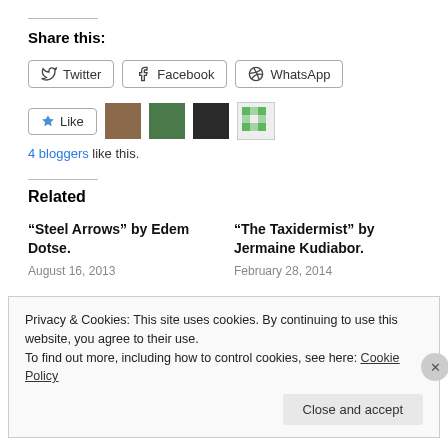Share this:
Twitter  Facebook  WhatsApp
Like  4 bloggers like this.
Related
“Steel Arrows” by Edem Dotse.
August 16, 2013
“The Taxidermist” by Jermaine Kudiabor.
February 28, 2014
Privacy & Cookies: This site uses cookies. By continuing to use this website, you agree to their use.
To find out more, including how to control cookies, see here: Cookie Policy
Close and accept